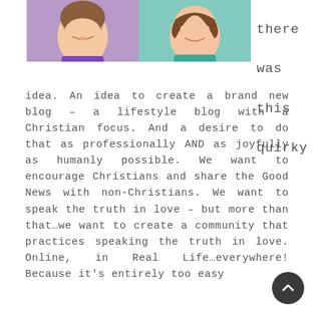[Figure (photo): Two women smiling side by side. Left woman wearing purple striped top with brown hair. Right woman wearing teal top with curly brown hair.]
was this quirky idea. An idea to create a brand new blog – a lifestyle blog with a Christian focus. And a desire to do that as professionally AND as joyfully as humanly possible. We want to encourage Christians and share the Good News with non-Christians. We want to speak the truth in love – but more than that…we want to create a community that practices speaking the truth in love. Online, in Real Life…everywhere! Because it's entirely too easy